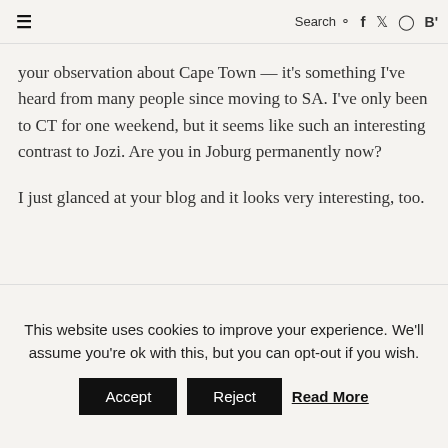≡  Search 🔍  f  t  ⊙  B'
your observation about Cape Town — it's something I've heard from many people since moving to SA. I've only been to CT for one weekend, but it seems like such an interesting contrast to Jozi. Are you in Joburg permanently now?

I just glanced at your blog and it looks very interesting, too.
Reply
This website uses cookies to improve your experience. We'll assume you're ok with this, but you can opt-out if you wish.
Accept  Reject  Read More